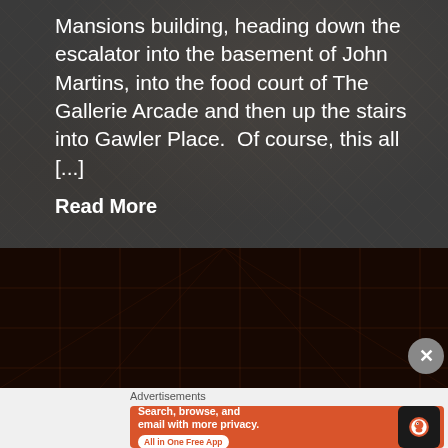Mansions building, heading down the escalator into the basement of John Martins, into the food court of The Gallerie Arcade and then up the stairs into Gawler Place.  Of course, this all [...]
Read More
[Figure (photo): Dark background image of ceiling tiles with orange/red lighting grid visible]
Advertisements
[Figure (infographic): DuckDuckGo advertisement banner: Search, browse, and email with more privacy. All in One Free App. Shows DuckDuckGo logo on phone.]